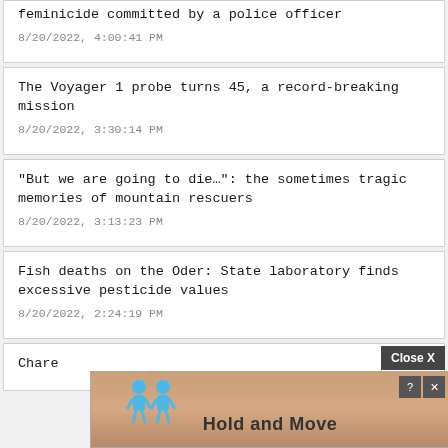feminicide committed by a police officer
8/20/2022, 4:00:41 PM
The Voyager 1 probe turns 45, a record-breaking mission
8/20/2022, 3:30:14 PM
“But we are going to die…”: the sometimes tragic memories of mountain rescuers
8/20/2022, 3:13:23 PM
Fish deaths on the Oder: State laboratory finds excessive pesticide values
8/20/2022, 2:24:19 PM
Close X
[Figure (screenshot): Advertisement overlay showing 'Hold and Move' game with cartoon figures and close/help icons]
Chare... nade